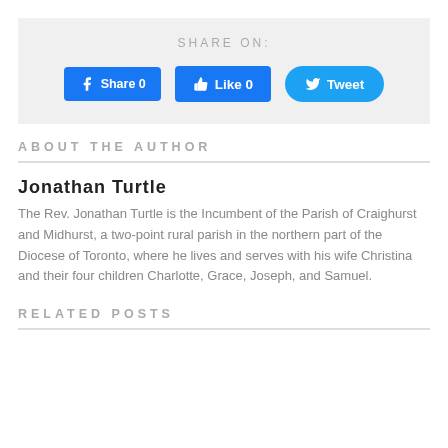SHARE ON:
[Figure (infographic): Social share buttons: Facebook Share 0, Like 0, Tweet]
ABOUT THE AUTHOR
Jonathan Turtle
The Rev. Jonathan Turtle is the Incumbent of the Parish of Craighurst and Midhurst, a two-point rural parish in the northern part of the Diocese of Toronto, where he lives and serves with his wife Christina and their four children Charlotte, Grace, Joseph, and Samuel.
RELATED POSTS